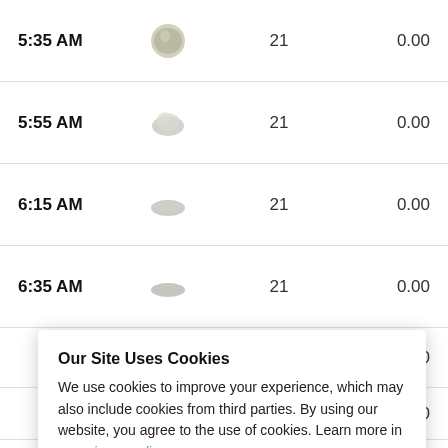| Time | Icon | Value | Amount |
| --- | --- | --- | --- |
| 5:35 AM | [icon] | 21 | 0.00 |
| 5:55 AM | [icon] | 21 | 0.00 |
| 6:15 AM | [icon] | 21 | 0.00 |
| 6:35 AM | [icon] | 21 | 0.00 |
|  |  |  | 0.00 |
|  |  |  | 0.00 |
|  |  |  | 0.00 |
|  |  |  | 0.00 |
| 8:15 AM | [icon] | 21 | 0.00 |
Our Site Uses Cookies
We use cookies to improve your experience, which may also include cookies from third parties. By using our website, you agree to the use of cookies. Learn more in our privacy policy.
ACCEPT & CLOSE